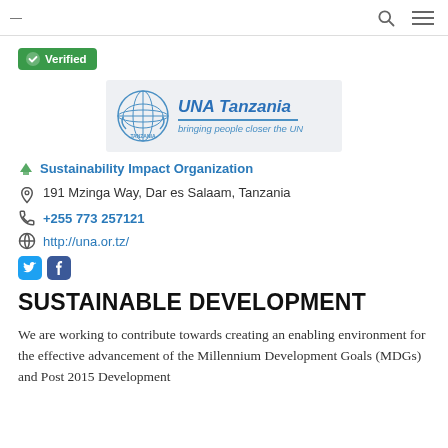— [search] [menu]
✔ Verified
[Figure (logo): UNA Tanzania logo with UN emblem and tagline 'bringing people closer the UN']
➤ Sustainability Impact Organization
📍 191 Mzinga Way, Dar es Salaam, Tanzania
📞 +255 773 257121
🌐 http://una.or.tz/
[Twitter] [Facebook]
SUSTAINABLE DEVELOPMENT
We are working to contribute towards creating an enabling environment for the effective advancement of the Millennium Development Goals (MDGs) and Post 2015 Development